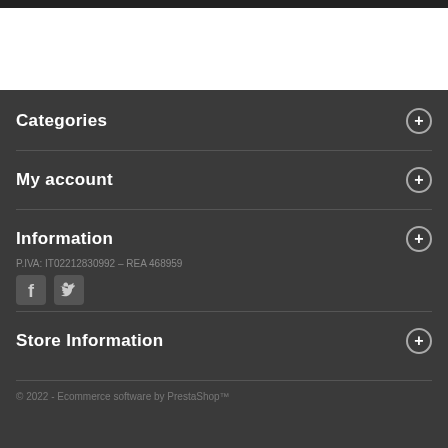Categories
My account
Information
P.IVA: IT02212830992 – REA 468959
[Figure (illustration): Facebook and Twitter social media icons]
Store Information
© 2022 - Ecommerce software by PrestaShop™